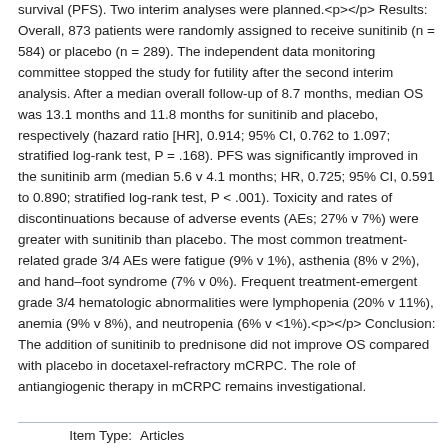survival (PFS). Two interim analyses were planned.<p></p> Results: Overall, 873 patients were randomly assigned to receive sunitinib (n = 584) or placebo (n = 289). The independent data monitoring committee stopped the study for futility after the second interim analysis. After a median overall follow-up of 8.7 months, median OS was 13.1 months and 11.8 months for sunitinib and placebo, respectively (hazard ratio [HR], 0.914; 95% CI, 0.762 to 1.097; stratified log-rank test, P = .168). PFS was significantly improved in the sunitinib arm (median 5.6 v 4.1 months; HR, 0.725; 95% CI, 0.591 to 0.890; stratified log-rank test, P < .001). Toxicity and rates of discontinuations because of adverse events (AEs; 27% v 7%) were greater with sunitinib than placebo. The most common treatment-related grade 3/4 AEs were fatigue (9% v 1%), asthenia (8% v 2%), and hand–foot syndrome (7% v 0%). Frequent treatment-emergent grade 3/4 hematologic abnormalities were lymphopenia (20% v 11%), anemia (9% v 8%), and neutropenia (6% v <1%).<p></p> Conclusion: The addition of sunitinib to prednisone did not improve OS compared with placebo in docetaxel-refractory mCRPC. The role of antiangiogenic therapy in mCRPC remains investigational.
| Item Type: |
| --- |
| Articles |